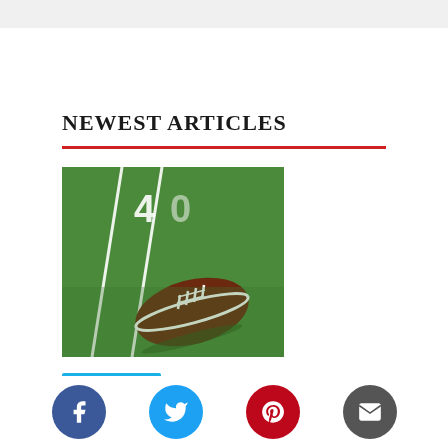NEWEST ARTICLES
[Figure (photo): Football on green turf field with yard line markings visible]
Lifestyle
Your AAA Northeast Football Guide
[Figure (other): Social sharing icons bar: Facebook, Twitter, Pinterest, Email]